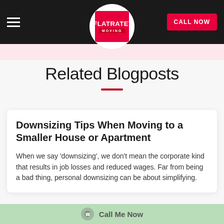FlatRate Moving — CALL NOW
Related Blogposts
Downsizing Tips When Moving to a Smaller House or Apartment
When we say 'downsizing', we don't mean the corporate kind that results in job losses and reduced wages. Far from being a bad thing, personal downsizing can be about simplifying.